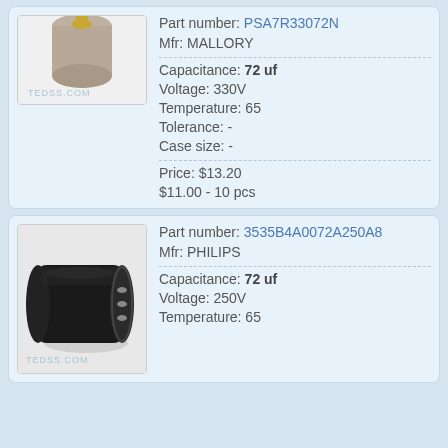[Figure (photo): Partial photo of a capacitor component at top, with TEDSS.COM watermark]
Part number: PSA7R33072N
Mfr: MALLORY
Capacitance: 72 uf
Voltage: 330V
Temperature: 65
Tolerance: -
Case size: -
Price: $13.20
$11.00 - 10 pcs
[Figure (photo): Black cylindrical capacitor (start capacitor) with metal contacts visible at one end, TEDSS.COM watermark]
Part number: 3535B4A0072A250A8
Mfr: PHILIPS
Capacitance: 72 uf
Voltage: 250V
Temperature: 65